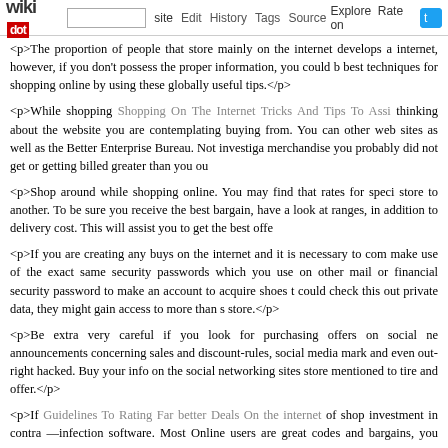wikidot | site | Edit | History | Tags | Source | Explore | Rate on [twitter]
<p>The proportion of people that store mainly on the internet develops a internet, however, if you don't possess the proper information, you could b best techniques for shopping online by using these globally useful tips.</p>
<p>While shopping Shopping On The Internet Tricks And Tips To Assi thinking about the website you are contemplating buying from. You can other web sites as well as the Better Enterprise Bureau. Not investiga merchandise you probably did not get or getting billed greater than you ou
<p>Shop around while shopping online. You may find that rates for speci store to another. To be sure you receive the best bargain, have a look at ranges, in addition to delivery cost. This will assist you to get the best offe
<p>If you are creating any buys on the internet and it is necessary to com make use of the exact same security passwords which you use on other mail or financial security password to make an account to acquire shoes t could check this out private data, they might gain access to more than s store.</p>
<p>Be extra very careful if you look for purchasing offers on social ne announcements concerning sales and discount-rules, social media mark and even out-right hacked. Buy your info on the social networking sites store mentioned to tire and offer.</p>
<p>If Guidelines To Rating Far better Deals On the internet of shop investment in contra —infection software. Most Online users are great codes and bargains, you could inadvertently stumble over a computer v obscure services or products, you might be redirected to some sketchy help direct you to security.</p>